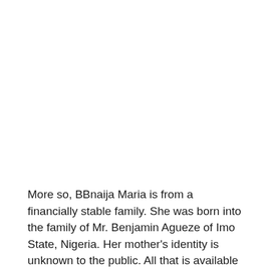More so, BBnaija Maria is from a financially stable family. She was born into the family of Mr. Benjamin Agueze of Imo State, Nigeria. Her mother's identity is unknown to the public. All that is available about